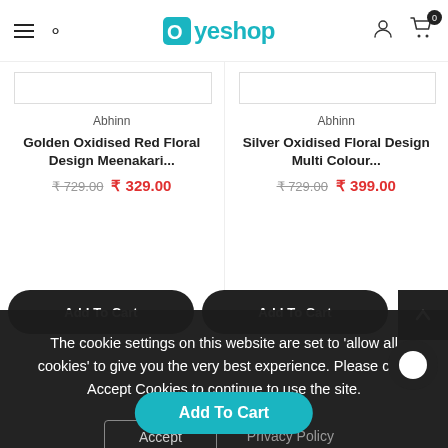Oyeshop — menu, search, user, cart (0)
Abhinn
Golden Oxidised Red Floral Design Meenakari...
₹729.00  ₹329.00
Abhinn
Silver Oxidised Floral Design Multi Colour...
₹729.00  ₹399.00
The cookie settings on this website are set to 'allow all cookies' to give you the very best experience. Please click Accept Cookies to continue to use the site.
Accept
Privacy Policy
Add To Cart